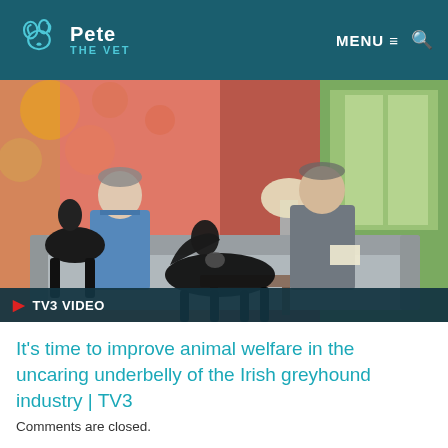Pete THE VET | MENU ≡ 🔍
[Figure (photo): TV studio set showing a veterinarian in blue scrubs sitting on a sofa with two black greyhounds, talking with a man in a grey suit. Colourful daytime TV show set background.]
▶ TV3 VIDEO
It's time to improve animal welfare in the uncaring underbelly of the Irish greyhound industry | TV3
Comments are closed.